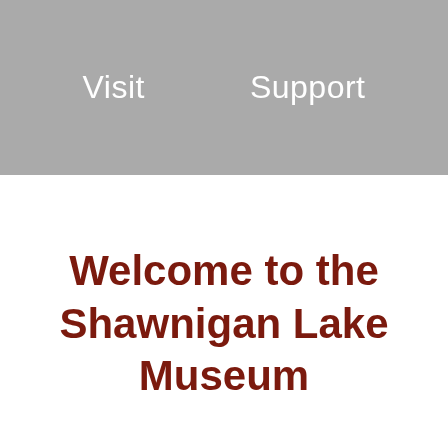Visit    Support
Welcome to the Shawnigan Lake Museum